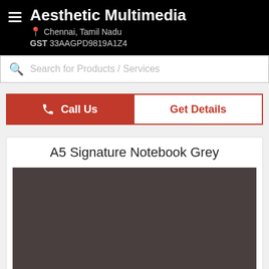Aesthetic Multimedia
Chennai, Tamil Nadu
GST 33AAGPD9819A1Z4
Search for Products / Services
Call Us
Get Details
A5 Signature Notebook Grey
[Figure (photo): Grey notebook product image with dark grey/brown cover]